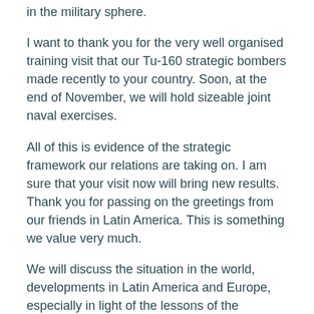in the military sphere.
I want to thank you for the very well organised training visit that our Tu-160 strategic bombers made recently to your country. Soon, at the end of November, we will hold sizeable joint naval exercises.
All of this is evidence of the strategic framework our relations are taking on. I am sure that your visit now will bring new results. Thank you for passing on the greetings from our friends in Latin America. This is something we value very much.
We will discuss the situation in the world, developments in Latin America and Europe, especially in light of the lessons of the Caucasus crisis that took place in August. We are grateful to Venezuela for the moral support it gave Russia during these events.